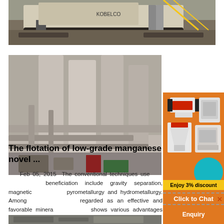[Figure (photo): Excavator / mining machine on rocky terrain at a construction or mining site]
[Figure (photo): Industrial facility with large pipes, silos, and processing equipment]
The flotation of low-grade manganese novel ...
Feb 05, 2015  The conventional techniques used for manganese beneficiation include gravity separation, magnetic separation, pyrometallurgy and hydrometallurgy. Among them flotation is regarded as an effective and favorable mineral processing, shows various advantages over the other technologies, applicability, adoptability ...
[Figure (infographic): Advertisement panel with mining machinery images, 'Enjoy 3% discount', 'Click to Chat', and 'Enquiry' call to action on orange background]
[Figure (photo): Partial image of additional mining or industrial equipment at bottom of page]